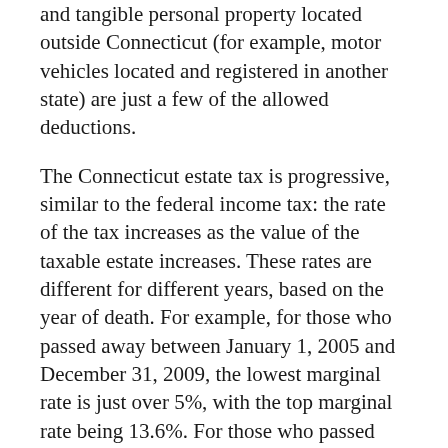and tangible personal property located outside Connecticut (for example, motor vehicles located and registered in another state) are just a few of the allowed deductions.
The Connecticut estate tax is progressive, similar to the federal income tax: the rate of the tax increases as the value of the taxable estate increases. These rates are different for different years, based on the year of death. For example, for those who passed away between January 1, 2005 and December 31, 2009, the lowest marginal rate is just over 5%, with the top marginal rate being 13.6%. For those who passed away beginning January 1, 2011 the lowest marginal rate is 7.2%, with the top marginal rate being 12%.
THIS ARTICLE IS FOR INFORMATIONAL PURPOSES ONLY. IT IS NOT INTENDED TO BE AND SHOULD